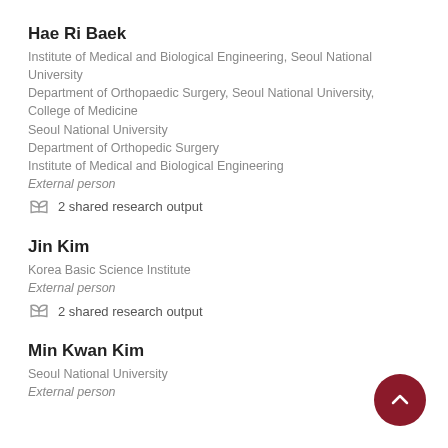Hae Ri Baek
Institute of Medical and Biological Engineering, Seoul National University
Department of Orthopaedic Surgery, Seoul National University, College of Medicine
Seoul National University
Department of Orthopedic Surgery
Institute of Medical and Biological Engineering
External person
2 shared research output
Jin Kim
Korea Basic Science Institute
External person
2 shared research output
Min Kwan Kim
Seoul National University
External person